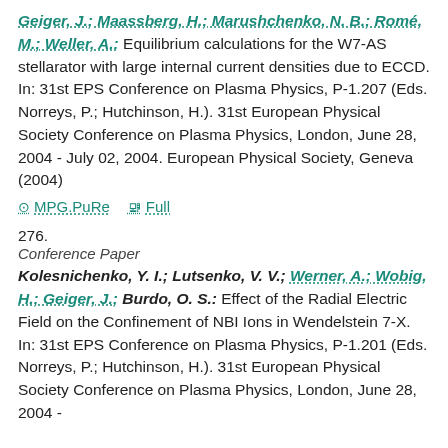Geiger, J.; Maassberg, H.; Marushchenko, N. B.; Romé, M.; Weller, A.: Equilibrium calculations for the W7-AS stellarator with large internal current densities due to ECCD. In: 31st EPS Conference on Plasma Physics, P-1.207 (Eds. Norreys, P.; Hutchinson, H.). 31st European Physical Society Conference on Plasma Physics, London, June 28, 2004 - July 02, 2004. European Physical Society, Geneva (2004)
MPG.PuRe   Full
276.
Conference Paper
Kolesnichenko, Y. I.; Lutsenko, V. V.; Werner, A.; Wobig, H.; Geiger, J.; Burdo, O. S.: Effect of the Radial Electric Field on the Confinement of NBI Ions in Wendelstein 7-X. In: 31st EPS Conference on Plasma Physics, P-1.201 (Eds. Norreys, P.; Hutchinson, H.). 31st European Physical Society Conference on Plasma Physics, London, June 28, 2004 -